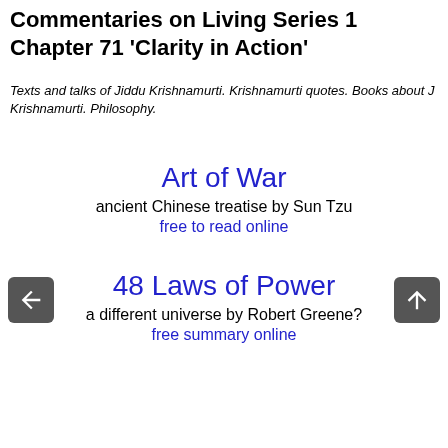Commentaries on Living Series 1 Chapter 71 'Clarity in Action'
Texts and talks of Jiddu Krishnamurti. Krishnamurti quotes. Books about J Krishnamurti. Philosophy.
Art of War
ancient Chinese treatise by Sun Tzu
free to read online
48 Laws of Power
a different universe by Robert Greene?
free summary online